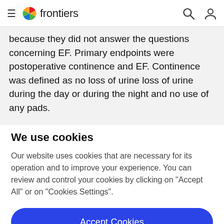frontiers
because they did not answer the questions concerning EF. Primary endpoints were postoperative continence and EF. Continence was defined as no loss of urine loss of urine during the day or during the night and no use of any pads.
We use cookies
Our website uses cookies that are necessary for its operation and to improve your experience. You can review and control your cookies by clicking on "Accept All" or on "Cookies Settings".
Accept Cookies
Cookies Settings